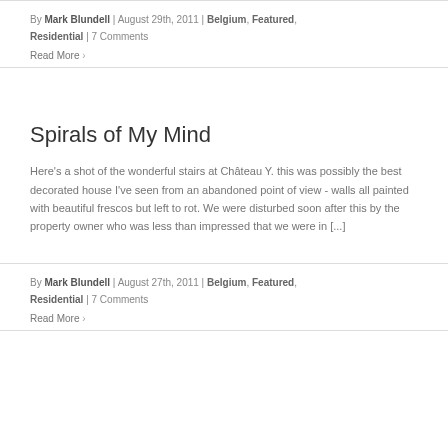By Mark Blundell | August 29th, 2011 | Belgium, Featured, Residential | 7 Comments
Read More ›
Spirals of My Mind
Here's a shot of the wonderful stairs at Château Y. this was possibly the best decorated house I've seen from an abandoned point of view - walls all painted with beautiful frescos but left to rot. We were disturbed soon after this by the property owner who was less than impressed that we were in [...]
By Mark Blundell | August 27th, 2011 | Belgium, Featured, Residential | 7 Comments
Read More ›